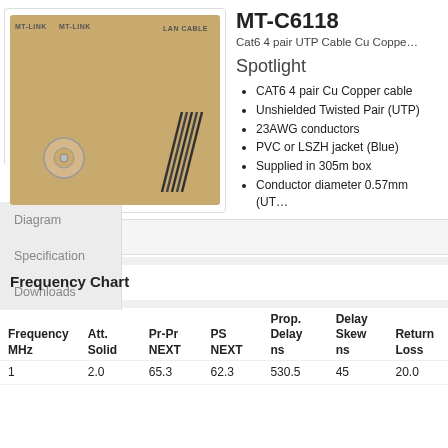[Figure (photo): Product box of MT-Link LAN Cable (MT-C6118) showing a cardboard box with cables visible and a spool/reel insert]
MT-C6118
Cat6 4 pair UTP Cable Cu Copper
Spotlight
CAT6 4 pair Cu Copper cable
Unshielded Twisted Pair (UTP)
23AWG conductors
PVC or LSZH jacket (Blue)
Supplied in 305m box
Conductor diameter 0.57mm (UT
Frequency Chart
| Frequency MHz | Att. Solid | Pr-Pr NEXT | PS NEXT | Prop. Delay ns | Delay Skew ns | Return Loss |
| --- | --- | --- | --- | --- | --- | --- |
| 1 | 2.0 | 65.3 | 62.3 | 530.5 | 45 | 20.0 |